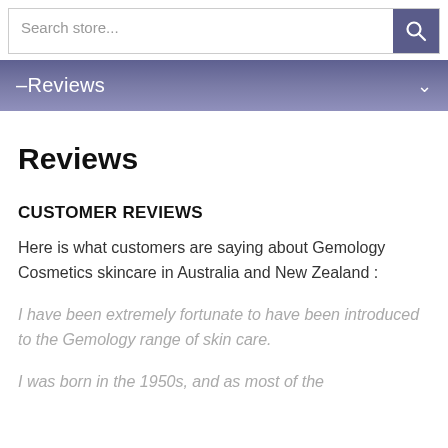Search store...
–Reviews
Reviews
CUSTOMER REVIEWS
Here is what customers are saying about Gemology Cosmetics skincare in Australia and New Zealand :
I have been extremely fortunate to have been introduced to the Gemology range of skin care.
I was born in the 1950s, and as most of the